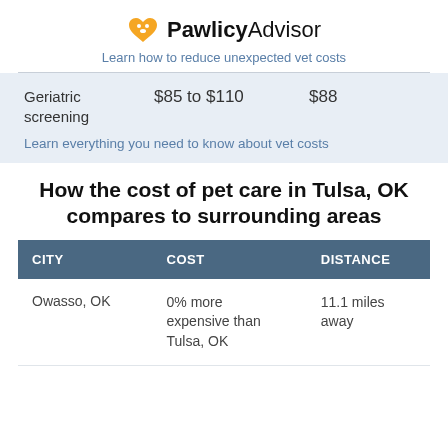PawlicyAdvisor
Learn how to reduce unexpected vet costs
|  |  |  |
| --- | --- | --- |
| Geriatric screening | $85 to $110 | $88 |
Learn everything you need to know about vet costs
How the cost of pet care in Tulsa, OK compares to surrounding areas
| CITY | COST | DISTANCE |
| --- | --- | --- |
| Owasso, OK | 0% more expensive than Tulsa, OK | 11.1 miles away |